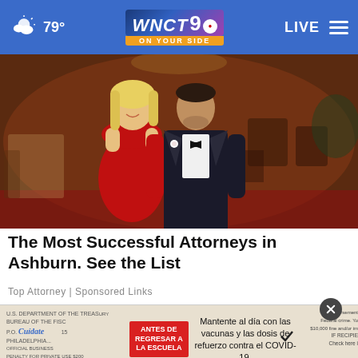79° | WNCT 9 ON YOUR SIDE | LIVE
[Figure (photo): A couple at a formal event — woman in red off-shoulder gown and man in black tuxedo with bow tie, standing in a banquet hall]
The Most Successful Attorneys in Ashburn. See the List
Top Attorney | Sponsored Links
[Figure (screenshot): Ad banner showing U.S. Department of the Treasury document, Cuídate logo, red 'ANTES DE REGRESAR A LA ESCUELA' button, Spanish text about COVID-19 vaccines and boosters, and close (X) button]